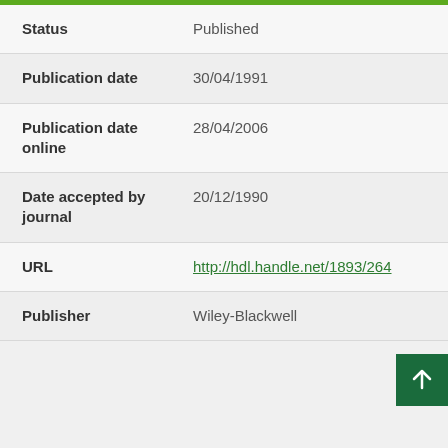| Field | Value |
| --- | --- |
| Status | Published |
| Publication date | 30/04/1991 |
| Publication date online | 28/04/2006 |
| Date accepted by journal | 20/12/1990 |
| URL | http://hdl.handle.net/1893/264 |
| Publisher | Wiley-Blackwell |